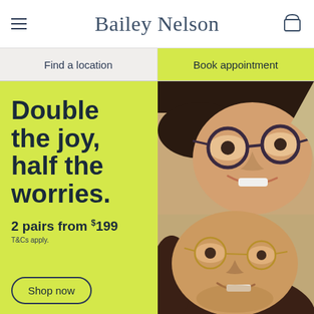Bailey Nelson
Find a location
Book appointment
Double the joy, half the worries.
2 pairs from $199
T&Cs apply.
Shop now
[Figure (photo): Two people smiling and wearing glasses, photographed from above lying down together. The top person wears round tortoise-shell glasses, the bottom person wears thin round glasses.]